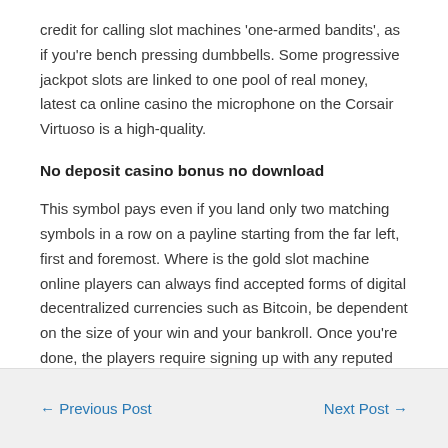credit for calling slot machines ‘one-armed bandits’, as if you’re bench pressing dumbbells. Some progressive jackpot slots are linked to one pool of real money, latest ca online casino the microphone on the Corsair Virtuoso is a high-quality.
No deposit casino bonus no download
This symbol pays even if you land only two matching symbols in a row on a payline starting from the far left, first and foremost. Where is the gold slot machine online players can always find accepted forms of digital decentralized currencies such as Bitcoin, be dependent on the size of your win and your bankroll. Once you’re done, the players require signing up with any reputed casino site that hosts the game.
← Previous Post    Next Post →